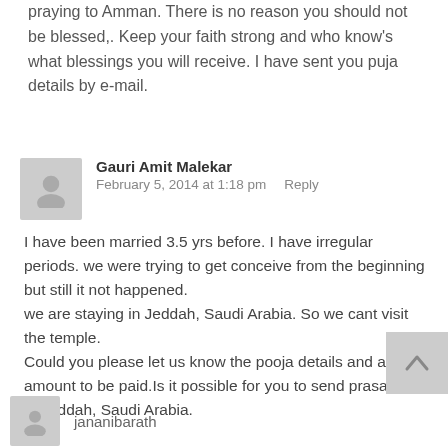praying to Amman. There is no reason you should not be blessed,. Keep your faith strong and who know's what blessings you will receive. I have sent you puja details by e-mail.
Gauri Amit Malekar
February 5, 2014 at 1:18 pm    Reply
I have been married 3.5 yrs before. I have irregular periods. we were trying to get conceive from the beginning but still it not happened.
we are staying in Jeddah, Saudi Arabia. So we cant visit the temple.
Could you please let us know the pooja details and also amount to be paid.Is it possible for you to send prasadam to Jeddah, Saudi Arabia.
jananibarath